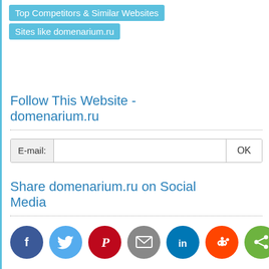Top Competitors & Similar Websites
Sites like domenarium.ru
Follow This Website - domenarium.ru
E-mail: OK
Share domenarium.ru on Social Media
[Figure (infographic): Row of 7 social media share icons: Facebook (dark blue), Twitter (light blue), Pinterest (red), Email (grey), LinkedIn (teal), Reddit (orange), Share (green)]